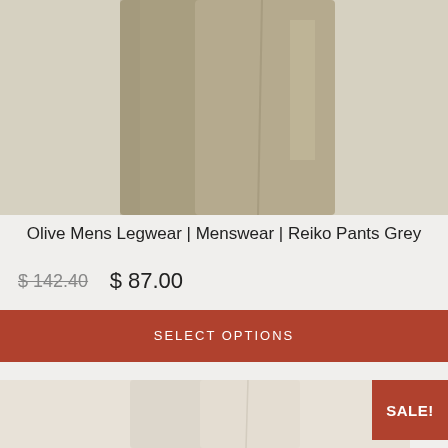[Figure (photo): Close-up photo of olive/khaki grey dress pants on a model, showing the leg fabric and drape against a light background]
Olive Mens Legwear | Menswear | Reiko Pants Grey
$ 142.40  $ 87.00
SELECT OPTIONS
[Figure (photo): Partial photo of cream/beige wide-leg trousers on a model]
SALE!